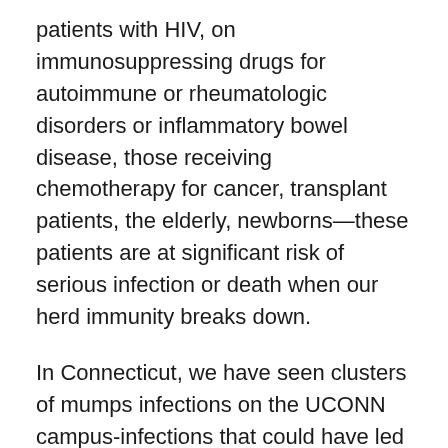patients with HIV, on immunosuppressing drugs for autoimmune or rheumatologic disorders or inflammatory bowel disease, those receiving chemotherapy for cancer, transplant patients, the elderly, newborns—these patients are at significant risk of serious infection or death when our herd immunity breaks down.
In Connecticut, we have seen clusters of mumps infections on the UCONN campus-infections that could have led to an outbreak without protective vaccine rates in the community. Without the social contract, and with the increase in non-medical exemptions, our state becomes more vulnerable to the outbreaks experienced in New York and even